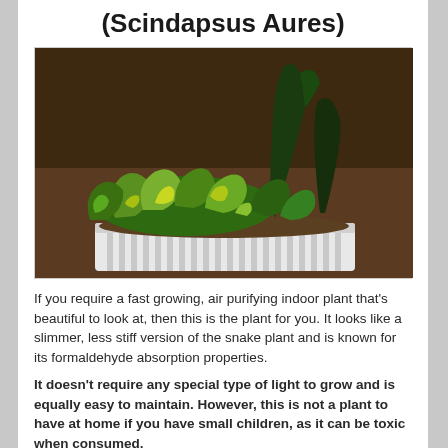(Scindapsus Aures)
[Figure (photo): Photo of Scindapsus Aureus (Pothos) plants with green and yellow variegated leaves in a white decorative pot against a brown/dark background.]
If you require a fast growing, air purifying indoor plant that's beautiful to look at, then this is the plant for you. It looks like a slimmer, less stiff version of the snake plant and is known for its formaldehyde absorption properties.
It doesn't require any special type of light to grow and is equally easy to maintain. However, this is not a plant to have at home if you have small children, as it can be toxic when consumed.